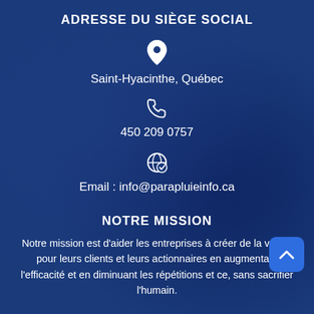ADRESSE DU SIÈGE SOCIAL
[Figure (illustration): Location pin icon (white) on blue background]
Saint-Hyacinthe, Québec
[Figure (illustration): Phone handset icon (white) on blue background]
450 209 0757
[Figure (illustration): Globe/email icon (white) on blue background]
Email : info@parapluieinfo.ca
NOTRE MISSION
Notre mission est d'aider les entreprises à créer de la valeur pour leurs clients et leurs actionnaires en augmentant l'efficacité et en diminuant les répétitions et ce, sans sacrifier l'humain.